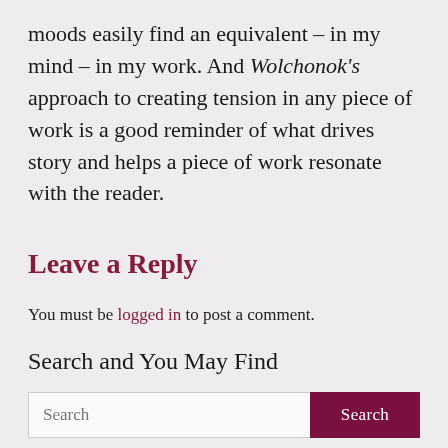moods easily find an equivalent – in my mind – in my work. And Wolchonok's approach to creating tension in any piece of work is a good reminder of what drives story and helps a piece of work resonate with the reader.
Leave a Reply
You must be logged in to post a comment.
Search and You May Find